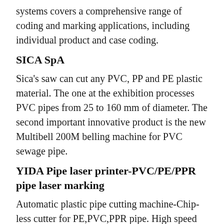systems covers a comprehensive range of coding and marking applications, including individual product and case coding.
SICA SpA
Sica's saw can cut any PVC, PP and PE plastic material. The one at the exhibition processes PVC pipes from 25 to 160 mm of diameter. The second important innovative product is the new Multibell 200M belling machine for PVC sewage pipe.
YIDA Pipe laser printer-PVC/PE/PPR pipe laser marking
Automatic plastic pipe cutting machine-Chip-less cutter for PE,PVC,PPR pipe. High speed 32 double stations pipe coiler. High speed 63 double stations pipe coiler. Pipe laser printer 20W 30W 50W for HDPE PVC PPR Plastic Pipe Cable. UV pipe laser marking machine for